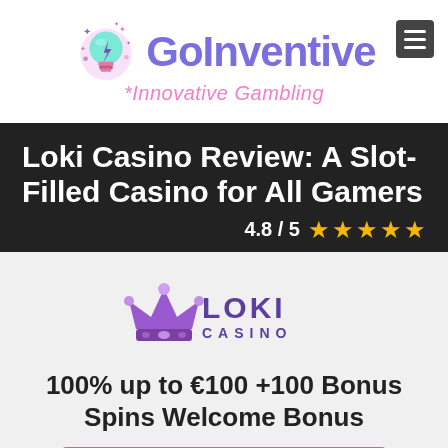[Figure (logo): GoInventive logo: lightbulb icon with sparkles, purple text 'GoInventive', pink italic text '*Innovative Gambling']
Loki Casino Review: A Slot-Filled Casino for All Gamers
4.8 / 5 ★★★★★
[Figure (logo): Loki Casino logo: purple crown icon with 'LOKI CASINO' text in purple]
100% up to €100 +100 Bonus Spins Welcome Bonus
VISIT